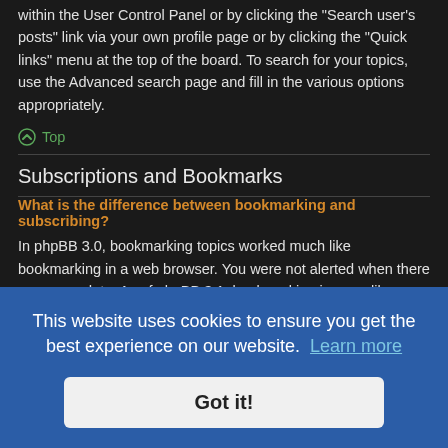within the User Control Panel or by clicking the "Search user's posts" link via your own profile page or by clicking the "Quick links" menu at the top of the board. To search for your topics, use the Advanced search page and fill in the various options appropriately.
Top
Subscriptions and Bookmarks
What is the difference between bookmarking and subscribing?
In phpBB 3.0, bookmarking topics worked much like bookmarking in a web browser. You were not alerted when there was an update. As of phpBB 3.1, bookmarking is more like subscribing to a topic. You can be notified when a bookmarked topic is updated. Subscribing, however, will notify you when there is an update to a topic or forum on the board. Notification options for bookmarks and subscriptions can be configured in the User Control Panel, under “Board
This website uses cookies to ensure you get the best experience on our website.  Learn more
Got it!
priate link n of a
checked will also subscribe you to the topic.